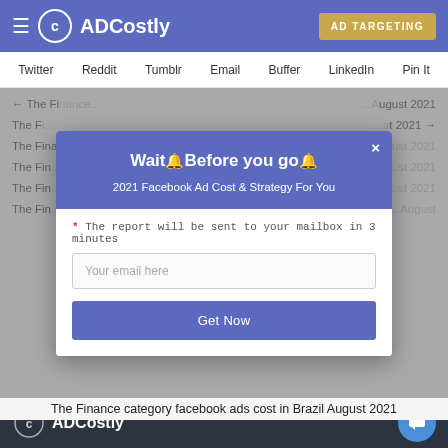ADCostly — AD TARGETING
Twitter  Reddit  Tumblr  Email  Buffer  LinkedIn  Pin It
[Figure (screenshot): Modal popup overlay on ADCostly website with title 'Wait Before you go', subtitle '2021 Facebook Ad Cost & Strategy For You', email input field, and Get Now button]
The Finance category facebook ads cost in Brazil August 2021
ADCostly